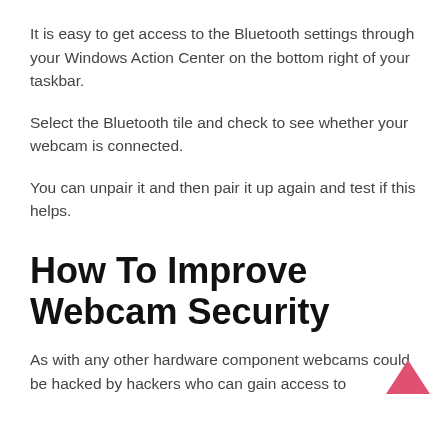It is easy to get access to the Bluetooth settings through your Windows Action Center on the bottom right of your taskbar.
Select the Bluetooth tile and check to see whether your webcam is connected.
You can unpair it and then pair it up again and test if this helps.
How To Improve Webcam Security
As with any other hardware component webcams could be hacked by hackers who can gain access to